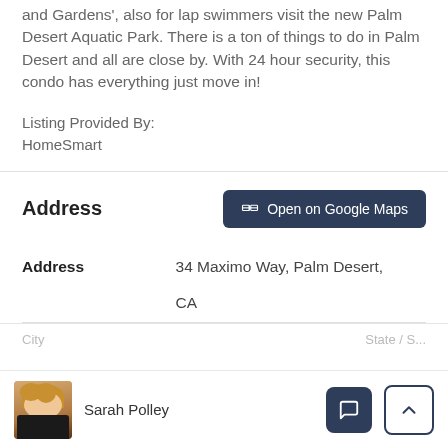and Gardens', also for lap swimmers visit the new Palm Desert Aquatic Park. There is a ton of things to do in Palm Desert and all are close by. With 24 hour security, this condo has everything just move in!
Listing Provided By:
HomeSmart
Address
| Address | Value |
| --- | --- |
| Address | 34 Maximo Way, Palm Desert, CA |
Sarah Polley